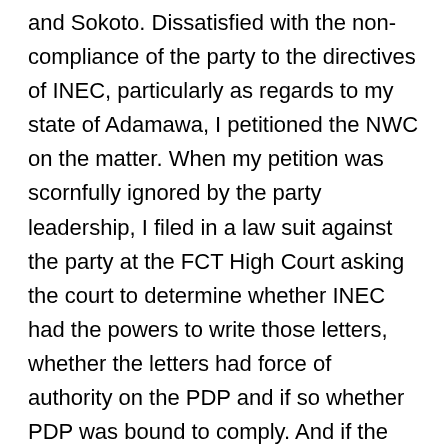and Sokoto. Dissatisfied with the non-compliance of the party to the directives of INEC, particularly as regards to my state of Adamawa, I petitioned the NWC on the matter. When my petition was scornfully ignored by the party leadership, I filed in a law suit against the party at the FCT High Court asking the court to determine whether INEC had the powers to write those letters, whether the letters had force of authority on the PDP and if so whether PDP was bound to comply. And if the court answered my questions affirmatively, then I prayed the court to declare the EXCOs in all the Wards, LGAs and of the State in Adamawa as null and void; and to order the NWC of the PDP to go back and re-conduct congresses in all the organs of the party in the state. The case was assigned to Justice Eyang. Unfortunately, from the proceedings in the court, it seems to me as if the FCT Judiciary, or particularly Justice Eyang, was afraid of cases involving the PDP, the matter is still lying dormant and undecided before the court more than a year